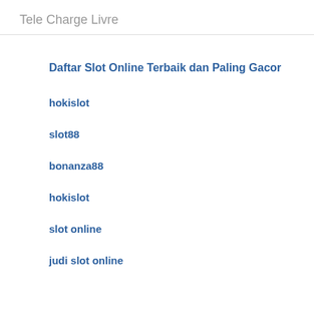Tele Charge Livre
Daftar Slot Online Terbaik dan Paling Gacor
hokislot
slot88
bonanza88
hokislot
slot online
judi slot online